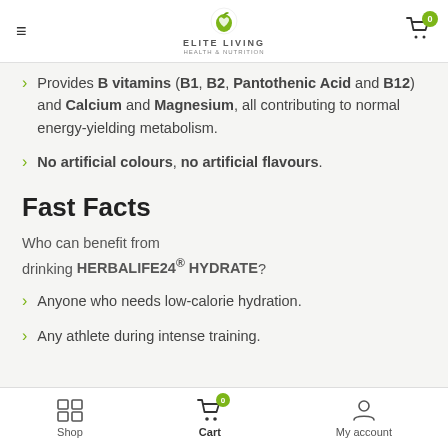Elite Living Health & Nutrition
Provides B vitamins (B1, B2, Pantothenic Acid and B12) and Calcium and Magnesium, all contributing to normal energy-yielding metabolism.
No artificial colours, no artificial flavours.
Fast Facts
Who can benefit from drinking HERBALIFE24® HYDRATE?
Anyone who needs low-calorie hydration.
Any athlete during intense training.
Shop | Cart | My account